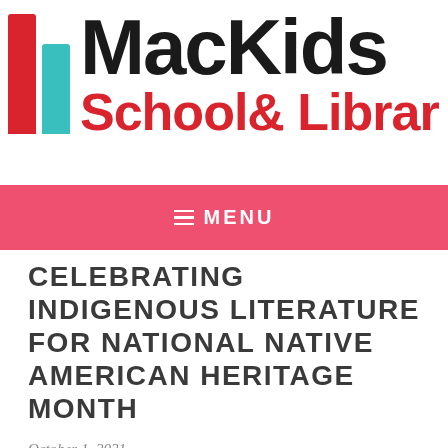[Figure (logo): MacKids School & Library logo with two colored vertical bars (red and teal) on the left, 'MacKids' in large black bold text, and 'School & Library' in bold red text below]
MENU
CELEBRATING INDIGENOUS LITERATURE FOR NATIONAL NATIVE AMERICAN HERITAGE MONTH
October 1, 2021
Celebrate National Native American Heritage Month in